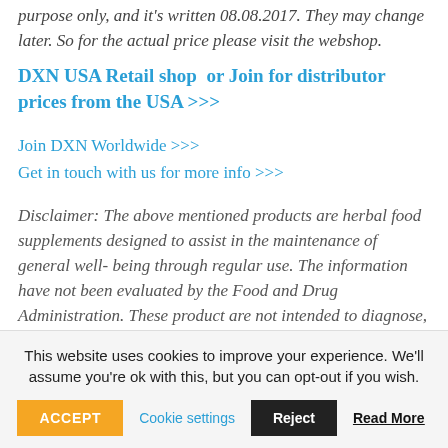purpose only, and it's written 08.08.2017. They may change later. So for the actual price please visit the webshop.
DXN USA Retail shop  or Join for distributor prices from the USA >>>
Join DXN Worldwide >>>
Get in touch with us for more info >>>
Disclaimer: The above mentioned products are herbal food supplements designed to assist in the maintenance of general well- being through regular use. The information have not been evaluated by the Food and Drug Administration. These product are not intended to diagnose, treat, cure, or prevent any disease. DXN does not condone or advocate
This website uses cookies to improve your experience. We'll assume you're ok with this, but you can opt-out if you wish.
ACCEPT
Cookie settings
Reject
Read More